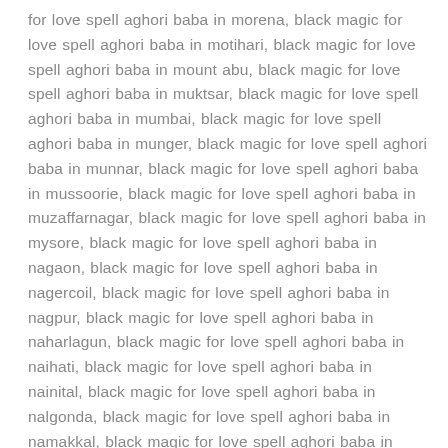for love spell aghori baba in morena, black magic for love spell aghori baba in motihari, black magic for love spell aghori baba in mount abu, black magic for love spell aghori baba in muktsar, black magic for love spell aghori baba in mumbai, black magic for love spell aghori baba in munger, black magic for love spell aghori baba in munnar, black magic for love spell aghori baba in mussoorie, black magic for love spell aghori baba in muzaffarnagar, black magic for love spell aghori baba in mysore, black magic for love spell aghori baba in nagaon, black magic for love spell aghori baba in nagercoil, black magic for love spell aghori baba in nagpur, black magic for love spell aghori baba in naharlagun, black magic for love spell aghori baba in naihati, black magic for love spell aghori baba in nainital, black magic for love spell aghori baba in nalgonda, black magic for love spell aghori baba in namakkal, black magic for love spell aghori baba in nanded, black magic for love spell aghori baba in narnaul, black magic for love spell aghori baba in nasik, black magic for love spell aghori baba in nathdwara, black magic for love spell aghori baba in navsari, black magic for love spell aghori